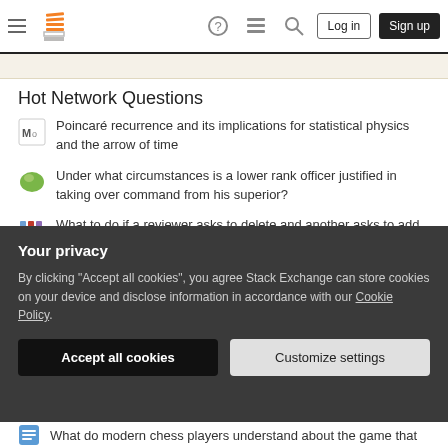Stack Exchange navigation bar with hamburger menu, logo, help, chat, search icons, Log in and Sign up buttons
Hot Network Questions
Poincaré recurrence and its implications for statistical physics and the arrow of time
Under what circumstances is a lower rank officer justified in taking over command from his superior?
What to do if a reviewer asks to delete and another asks to add more details
What happens if the professors that write your letter of recommendation have the same name?
K&R Exercise 3-3. Expands shorthand notations (e.g., a-z to abc..xyz
Your privacy
By clicking "Accept all cookies", you agree Stack Exchange can store cookies on your device and disclose information in accordance with our Cookie Policy.
Accept all cookies  Customize settings
What do modern chess players understand about the game that